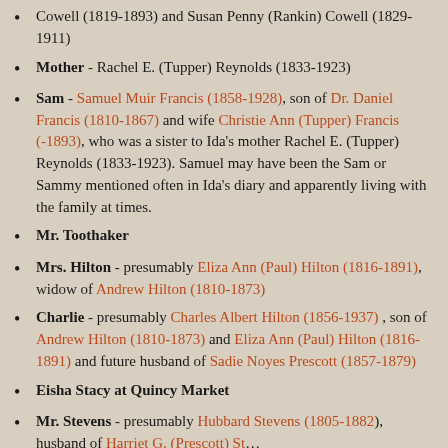Cowell (1819-1893) and Susan Penny (Rankin) Cowell (1829-1911)
Mother - Rachel E. (Tupper) Reynolds (1833-1923)
Sam - Samuel Muir Francis (1858-1928), son of Dr. Daniel Francis (1810-1867) and wife Christie Ann (Tupper) Francis (-1893), who was a sister to Ida's mother Rachel E. (Tupper) Reynolds (1833-1923). Samuel may have been the Sam or Sammy mentioned often in Ida's diary and apparently living with the family at times.
Mr. Toothaker
Mrs. Hilton - presumably Eliza Ann (Paul) Hilton (1816-1891), widow of Andrew Hilton (1810-1873)
Charlie - presumably Charles Albert Hilton (1856-1937) , son of Andrew Hilton (1810-1873) and Eliza Ann (Paul) Hilton (1816-1891) and future husband of Sadie Noyes Prescott (1857-1879)
Eisha Stacy at Quincy Market
Mr. Stevens - presumably Hubbard Stevens (1805-1882), husband of Harriet G. (Prescott) Stevens